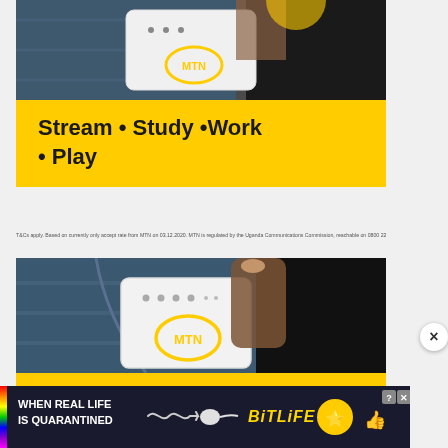[Figure (photo): MTN mobile WiFi router device being held, with jeans/denim background — top ad unit (partially cropped)]
Stream • Study • Work • Play
T&Cs apply. Based on currently only accept rate from MTN on 03.12.2020. MTN is regulated by the Uganda Communications Commission, reachable on 0800 222 777. Full terms.
[Figure (photo): MTN mobile WiFi router device being pulled from denim jeans pocket, dark background on right side]
Stream • Study • Work • Play
[Figure (infographic): BitLife mobile game banner ad with rainbow stripe, star emoji character, thumbs up emoji, question mark and close buttons. Text: WHEN REAL LIFE IS QUARANTINED and BITLIFE logo]